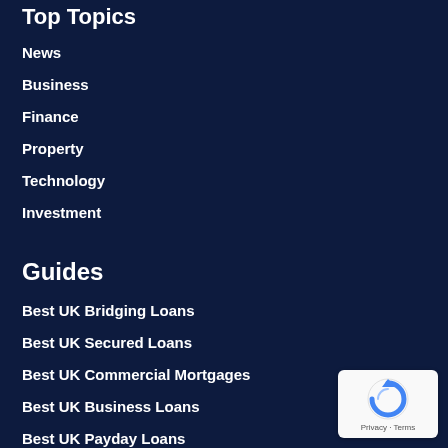Top Topics
News
Business
Finance
Property
Technology
Investment
Guides
Best UK Bridging Loans
Best UK Secured Loans
Best UK Commercial Mortgages
Best UK Business Loans
Best UK Payday Loans
[Figure (other): reCAPTCHA privacy badge with spinning arrow icon and Privacy - Terms text]